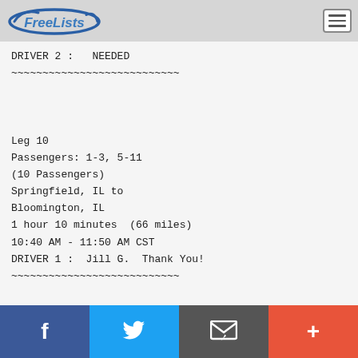FreeLists
DRIVER 2 :   NEEDED
~~~~~~~~~~~~~~~~~~~~~~~~~~~


Leg 10
Passengers: 1-3, 5-11
(10 Passengers)
Springfield, IL to
Bloomington, IL
1 hour 10 minutes  (66 miles)
10:40 AM - 11:50 AM CST
DRIVER 1 :  Jill G.  Thank You!
~~~~~~~~~~~~~~~~~~~~~~~~~~~


Leg 11